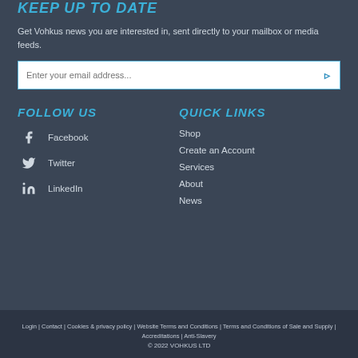KEEP UP TO DATE
Get Vohkus news you are interested in, sent directly to your mailbox or media feeds.
FOLLOW US
Facebook
Twitter
LinkedIn
QUICK LINKS
Shop
Create an Account
Services
About
News
Login | Contact | Cookies & privacy policy | Website Terms and Conditions | Terms and Conditions of Sale and Supply | Accreditations | Anti-Slavery © 2022 VOHKUS LTD